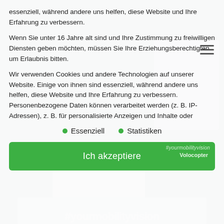essenziell, während andere uns helfen, diese Website und Ihre Erfahrung zu verbessern.
Wenn Sie unter 16 Jahre alt sind und Ihre Zustimmung zu freiwilligen Diensten geben möchten, müssen Sie Ihre Erziehungsberechtigten um Erlaubnis bitten.
Wir verwenden Cookies und andere Technologien auf unserer Website. Einige von ihnen sind essenziell, während andere uns helfen, diese Website und Ihre Erfahrung zu verbessern. Personenbezogene Daten können verarbeitet werden (z. B. IP-Adressen), z. B. für personalisierte Anzeigen und Inhalte oder
Essenziell
Statistiken
Ich akzeptiere
[Figure (photo): Grayscale photo of a person (woman) in the background]
[Figure (photo): Bottom banner image with hashtag #yourmobilityvision text]